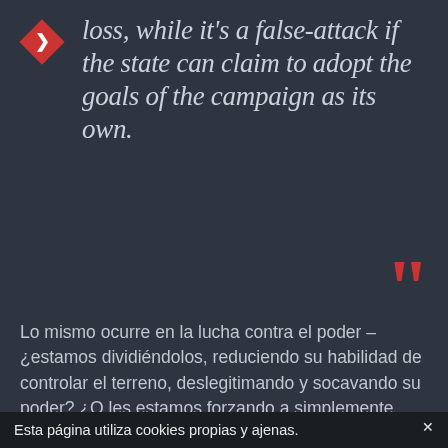loss, while it's a false-attack if the state can claim to adopt the goals of the campaign as its own.
Lo mismo ocurre en la lucha contra el poder – ¿estamos dividiéndolos, reduciendo su habilidad de controlar el terreno, deslegitimando y socavando su poder? ¿O les estamos forzando a simplemente reforzar defectos en su posición, permitiéndoles recuperarse de nuestro ataque nombrando juntas de supervisión policial y ministros del medio ambiente? Un ataque, en este caso, sería una
Esta página utiliza cookies propias y ajenas.